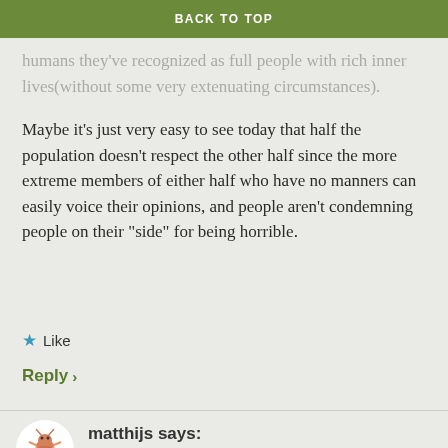BACK TO TOP
humans they've recognized as full people with rich inner lives(without some very extenuating circumstances).
Maybe it's just very easy to see today that half the population doesn't respect the other half since the more extreme members of either half who have no manners can easily voice their opinions, and people aren't condemning people on their “side” for being horrible.
★ Like
Reply ›
matthijs says:
September 29, 2018 at 5:06 am